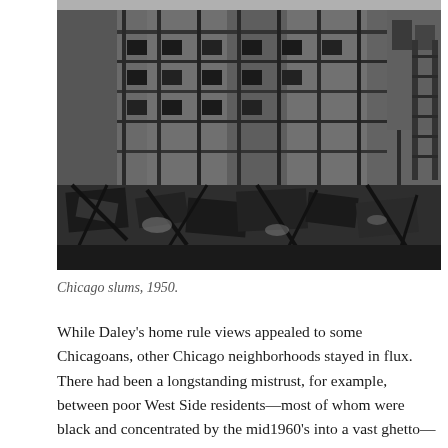[Figure (photo): Black and white photograph of Chicago slums in 1950, showing dilapidated multi-story wooden buildings with porches and balconies, and debris-strewn foreground with damaged furniture and rubble.]
Chicago slums, 1950.
While Daley's home rule views appealed to some Chicagoans, other Chicago neighborhoods stayed in flux. There had been a longstanding mistrust, for example, between poor West Side residents—most of whom were black and concentrated by the mid1960's into a vast ghetto—and a largely white Chicago police and fire departments. In the summer of 1965 street riots in West Garfield Park effectively produced the integration of 40 of 132 firehouses where calls for integration had been resisted since the early 1950's.